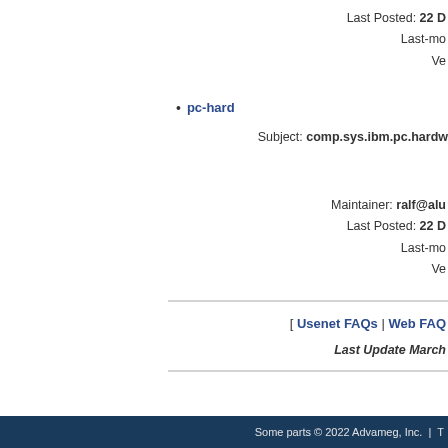Last Posted: 22 D
Last-mo
Ve
pc-hard
Subject: comp.sys.ibm.pc.hardw
Maintainer: ralf@alu
Last Posted: 22 D
Last-mo
Ve
[ Usenet FAQs | Web FAQ
Last Update March
Some parts © 2022 Advameg, Inc.  |  T